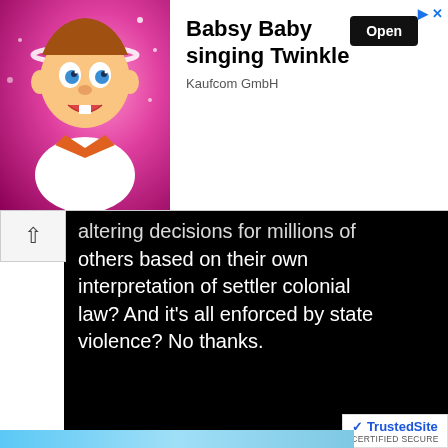[Figure (screenshot): Mobile advertisement banner for 'Babsy Baby singing Twinkle' by Kaufcom GmbH, showing a cartoon baby character on a pink background with an 'Open' button]
[Figure (screenshot): Black background with white text partially visible: '...altering decisions for millions of others based on their own interpretation of settler colonial law? And it's all enforced by state violence? No thanks.']
Truck Driver Rams Into Abortion Rights Demonstrators At Roe Rally In Iowa
[Figure (screenshot): TrustedSite certified secure badge and partial image strip at bottom]